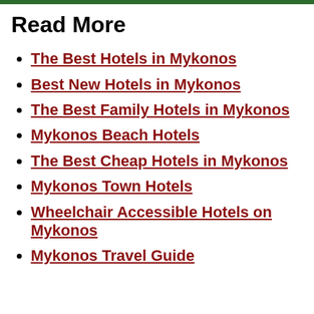Read More
The Best Hotels in Mykonos
Best New Hotels in Mykonos
The Best Family Hotels in Mykonos
Mykonos Beach Hotels
The Best Cheap Hotels in Mykonos
Mykonos Town Hotels
Wheelchair Accessible Hotels on Mykonos
Mykonos Travel Guide